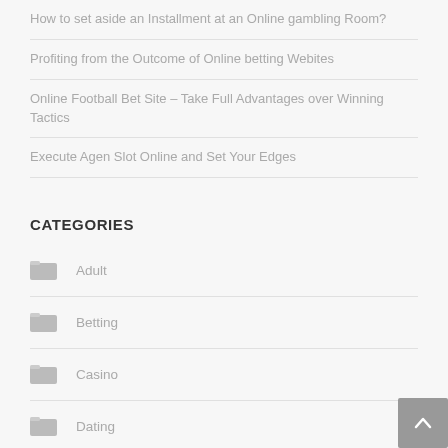How to set aside an Installment at an Online gambling Room?
Profiting from the Outcome of Online betting Webites
Online Football Bet Site – Take Full Advantages over Winning Tactics
Execute Agen Slot Online and Set Your Edges
CATEGORIES
Adult
Betting
Casino
Dating